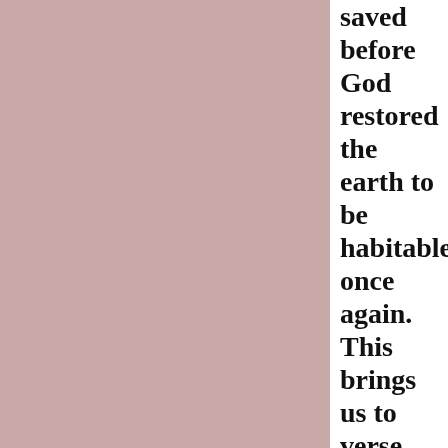[Figure (other): Pink/mauve colored background panel occupying the left ~74% of the page]
saved before God restored the earth to be habitable once again. This brings us to verse 27.
Proverbs 8:27.
“W
He